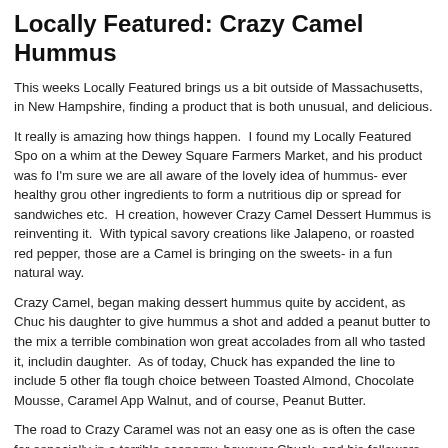Locally Featured: Crazy Camel Hummus
This weeks Locally Featured brings us a bit outside of Massachusetts, in New Hampshire, finding a product that is both unusual, and delicious.
It really is amazing how things happen. I found my Locally Featured Spot on a whim at the Dewey Square Farmers Market, and his product was fo... I'm sure we are all aware of the lovely idea of hummus- ever healthy grou... other ingredients to form a nutritious dip or spread for sandwiches etc. H... creation, however Crazy Camel Dessert Hummus is reinventing it. With ... typical savory creations like Jalapeno, or roasted red pepper, those are a... Camel is bringing on the sweets- in a fun natural way.
Crazy Camel, began making dessert hummus quite by accident, as Chuc... his daughter to give hummus a shot and added a peanut butter to the mix... a terrible combination won great accolades from all who tasted it, includin... daughter. As of today, Chuck has expanded the line to include 5 other fla... tough choice between Toasted Almond, Chocolate Mousse, Caramel App... Walnut, and of course, Peanut Butter.
The road to Crazy Caramel was not an easy one as is often the case for ... especially in a terrible economy, however Chuck, and his followers had fa... persevered. Today Crazy Camel hummus can be found to be purchased ... select Whole Foods Markets and other area markets, as well as at the De... Market.